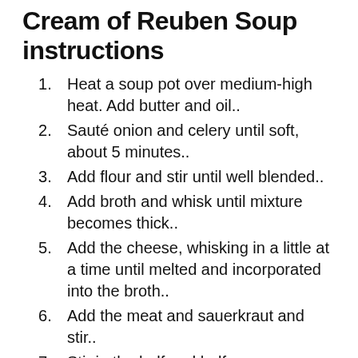Cream of Reuben Soup instructions
Heat a soup pot over medium-high heat. Add butter and oil..
Sauté onion and celery until soft, about 5 minutes..
Add flour and stir until well blended..
Add broth and whisk until mixture becomes thick..
Add the cheese, whisking in a little at a time until melted and incorporated into the broth..
Add the meat and sauerkraut and stir..
Stir in the half and half..
Simmer for 10 minutes..
Season to taste with salt and pepper, and